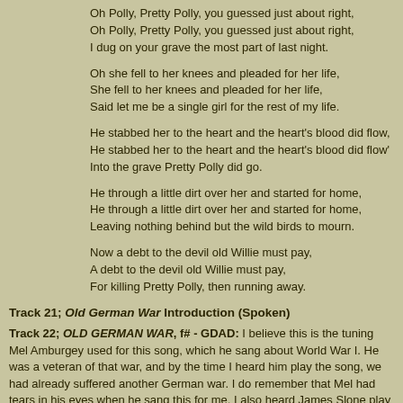Oh Polly, Pretty Polly, you guessed just about right,
Oh Polly, Pretty Polly, you guessed just about right,
I dug on your grave the most part of last night.
Oh she fell to her knees and pleaded for her life,
She fell to her knees and pleaded for her life,
Said let me be a single girl for the rest of my life.
He stabbed her to the heart and the heart's blood did flow,
He stabbed her to the heart and the heart's blood did flow'
Into the grave Pretty Polly did go.
He through a little dirt over her and started for home,
He through a little dirt over her and started for home,
Leaving nothing behind but the wild birds to mourn.
Now a debt to the devil old Willie must pay,
A debt to the devil old Willie must pay,
For killing Pretty Polly, then running away.
Track 21; Old German War Introduction (Spoken)
Track 22; OLD GERMAN WAR, f# - GDAD: I believe this is the tuning Mel Amburgey used for this song, which he sang about World War I. He was a veteran of that war, and by the time I heard him play the song, we had already suffered another German war. I do remember that Mel had tears in his eyes when he sang this for me. I also heard James Slone play this song, which he had learned from Mel. This song is derived from Texas Rangers, which was a popular tune on Carr Creek. A version of this song was also sung by Banjo Bill Cornett, from Hindman, Kentucky.
Come all you good people wherever you may be,
I hope you'll pay attention and listen to me,
My name is nothing extra, the truth to you I'll tell,